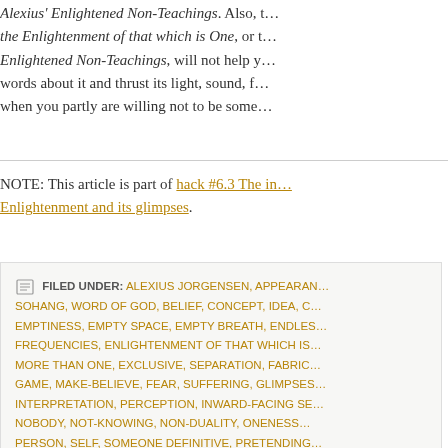Alexius' Enlightened Non-Teachings. Also, the Enlightenment of that which is One, or Enlightened Non-Teachings, will not help you words about it and thrust its light, sound, f… when you partly are willing not to be some…
NOTE: This article is part of hack #6.3 The in… Enlightenment and its glimpses.
FILED UNDER: ALEXIUS JORGENSEN, APPEARAN… SOHANG, WORD OF GOD, BELIEF, CONCEPT, IDEA, C… EMPTINESS, EMPTY SPACE, EMPTY BREATH, ENDLES… FREQUENCIES, ENLIGHTENMENT OF THAT WHICH IS… MORE THAN ONE, EXCLUSIVE, SEPARATION, FABRIC… GAME, MAKE-BELIEVE, FEAR, SUFFERING, GLIMPSES… INTERPRETATION, PERCEPTION, INWARD-FACING SE… NOBODY, NOT-KNOWING, NON-DUALITY, ONENESS… PERSON, SELF, SOMEONE DEFINITIVE, PRETENDING… WHICH IS ONE, UNDO, UNLEARN